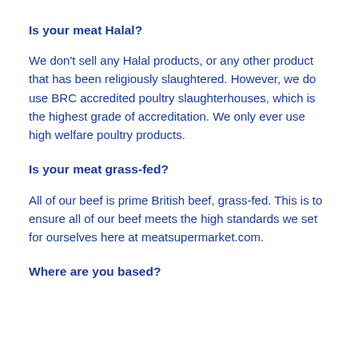Is your meat Halal?
We don't sell any Halal products, or any other product that has been religiously slaughtered. However, we do use BRC accredited poultry slaughterhouses, which is the highest grade of accreditation. We only ever use high welfare poultry products.
Is your meat grass-fed?
All of our beef is prime British beef, grass-fed. This is to ensure all of our beef meets the high standards we set for ourselves here at meatsupermarket.com.
Where are you based?